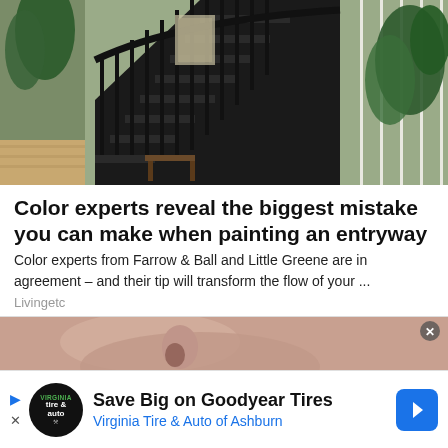[Figure (photo): Interior photo showing a dark-painted staircase with black balusters and railings, indoor plants on either side, wooden floor, light sage green walls, and natural light]
Color experts reveal the biggest mistake you can make when painting an entryway
Color experts from Farrow & Ball and Little Greene are in agreement – and their tip will transform the flow of your ...
Livingetc
[Figure (photo): Close-up photo of a human nose and lips, likely a skincare or beauty article thumbnail]
Save Big on Goodyear Tires
Virginia Tire & Auto of Ashburn